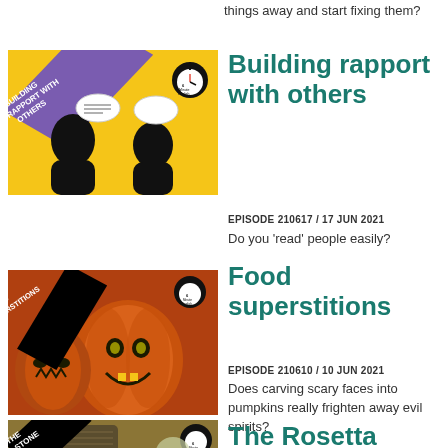things away and start fixing them?
[Figure (illustration): Building rapport with others BBC 6 Minute English episode thumbnail. Yellow background with two black silhouette heads facing each other with speech bubbles, one containing scribbles and one empty. Purple diagonal banner text reads BUILDING RAPPORT WITH OTHERS.]
Building rapport with others
EPISODE 210617 / 17 JUN 2021
Do you 'read' people easily?
[Figure (photo): Food superstitions BBC 6 Minute English episode thumbnail. Photo of carved Halloween jack-o-lantern pumpkins with googly eye faces. Black diagonal banner reads FOOD SUPERSTITIONS.]
Food superstitions
EPISODE 210610 / 10 JUN 2021
Does carving scary faces into pumpkins really frighten away evil spirits?
[Figure (illustration): The Rosetta Stone BBC 6 Minute English episode thumbnail, partially visible at bottom.]
The Rosetta